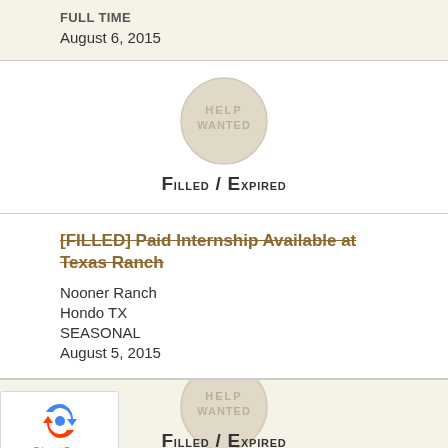FULL TIME
August 6, 2015
[Figure (illustration): Help Wanted circular stamp/badge with text FILLED / EXPIRED overlay]
[FILLED] Paid Internship Available at Texas Ranch
Nooner Ranch
Hondo TX
SEASONAL
August 5, 2015
[Figure (illustration): Help Wanted circular stamp/badge with text FILLED / EXPIRED overlay (second instance)]